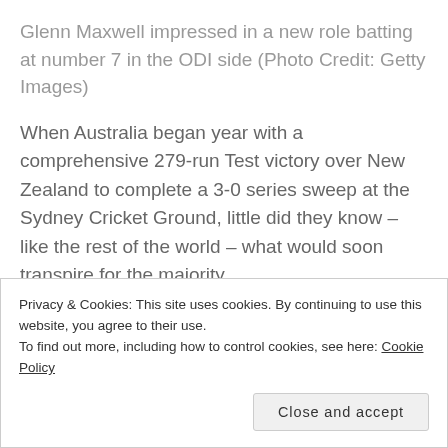Glenn Maxwell impressed in a new role batting at number 7 in the ODI side (Photo Credit: Getty Images)
When Australia began year with a comprehensive 279-run Test victory over New Zealand to complete a 3-0 series sweep at the Sydney Cricket Ground, little did they know – like the rest of the world – what would soon transpire for the majority
Privacy & Cookies: This site uses cookies. By continuing to use this website, you agree to their use.
To find out more, including how to control cookies, see here: Cookie Policy